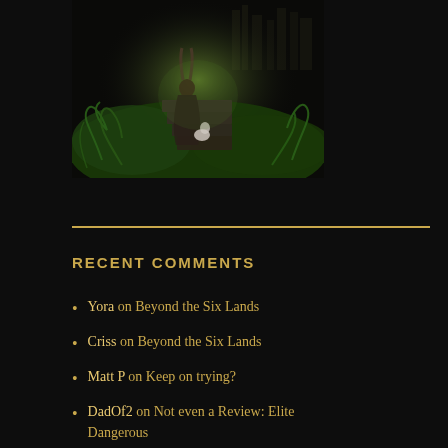[Figure (illustration): Fantasy artwork showing a robed figure with rabbit ears standing on stone steps in a lush magical forest environment with ferns, a white cat or creature nearby, and a castle or ruins visible in the misty background]
RECENT COMMENTS
Yora on Beyond the Six Lands
Criss on Beyond the Six Lands
Matt P on Keep on trying?
DadOf2 on Not even a Review: Elite Dangerous
McGrath on Not even a Review: Elite